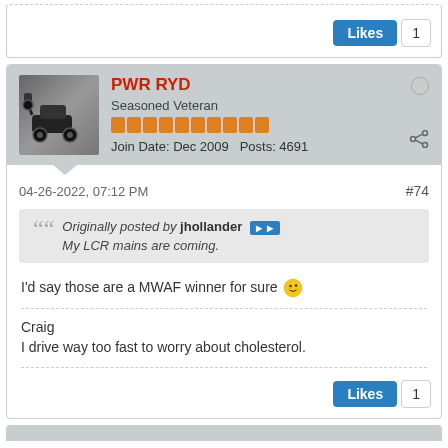[Figure (screenshot): Top portion of a forum post showing a Likes button with count 1]
[Figure (screenshot): Forum user profile card for PWR RYD, Seasoned Veteran, joined Dec 2009, 4691 posts, avatar showing car doing wheelie]
04-26-2022, 07:12 PM
#74
Originally posted by jhollander
My LCR mains are coming.
I'd say those are a MWAF winner for sure 😉
Craig
I drive way too fast to worry about cholesterol.
[Figure (screenshot): Likes button with count 1 at bottom of post]
[Figure (screenshot): Bottom gray header stub of next forum post]